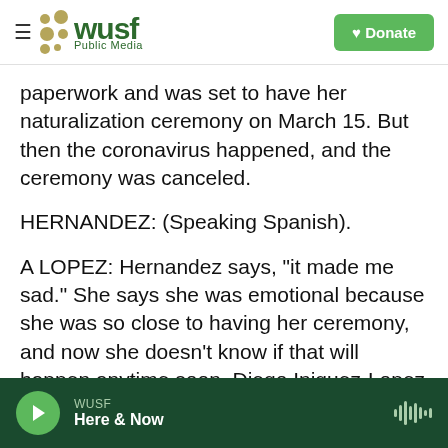WUSF Public Media — navigation header with Donate button
paperwork and was set to have her naturalization ceremony on March 15. But then the coronavirus happened, and the ceremony was canceled.
HERNANDEZ: (Speaking Spanish).
A LOPEZ: Hernandez says, "it made me sad." She says she was emotional because she was so close to having her ceremony, and now she doesn't know if that will happen anytime soon. Diego Iniguez-Lopez with the National Partnership for New Americans says U.S. Citizenship and Immigration Services, or USCIS, should hold virtual oath
WUSF | Here & Now